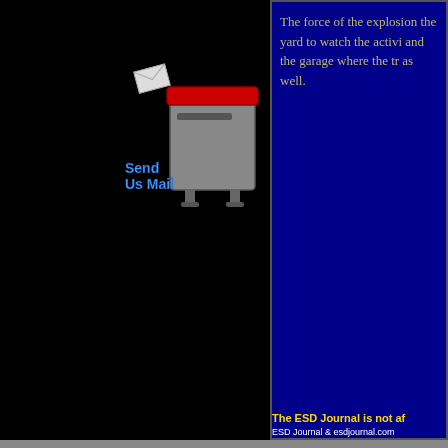[Figure (illustration): Send Us Mail icon with mailbox and envelope graphic, blue text 'Send Us Mail']
The force of the explosion the yard to watch the activi and the garage where the tr as well.
The ESD Journal is not af
ESD Journal & esdjournal.com
The content & Look of the ESD Jou Al
The YouTube r